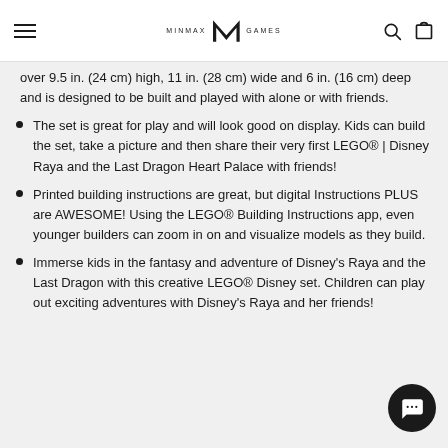MINMAX GAMES
over 9.5 in. (24 cm) high, 11 in. (28 cm) wide and 6 in. (16 cm) deep and is designed to be built and played with alone or with friends.
The set is great for play and will look good on display. Kids can build the set, take a picture and then share their very first LEGO® | Disney Raya and the Last Dragon Heart Palace with friends!
Printed building instructions are great, but digital Instructions PLUS are AWESOME! Using the LEGO® Building Instructions app, even younger builders can zoom in on and visualize models as they build.
Immerse kids in the fantasy and adventure of Disney's Raya and the Last Dragon with this creative LEGO® Disney set. Children can play out exciting adventures with Disney's Raya and her friends!